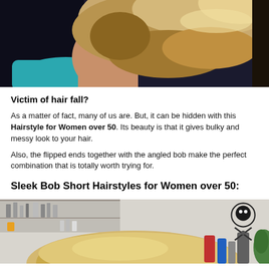[Figure (photo): Close-up photo of the back of a woman's head showing short hair, with a teal/blue top, dark background on left side]
Victim of hair fall?
As a matter of fact, many of us are. But, it can be hidden with this Hairstyle for Women over 50. Its beauty is that it gives bulky and messy look to your hair.
Also, the flipped ends together with the angled bob make the perfect combination that is totally worth trying for.
Sleek Bob Short Hairstyles for Women over 50:
[Figure (photo): Photo of a woman with blonde short hair seen from behind in a hair salon, with shelves of hair products and scissors logo visible in background]